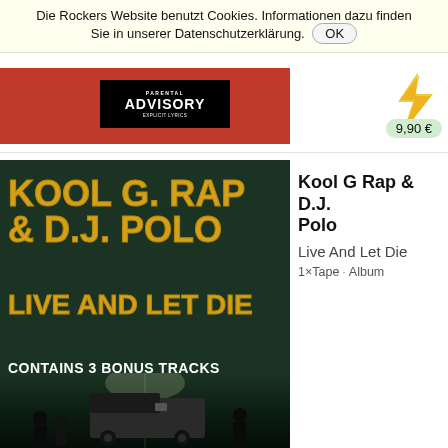Die Rockers Website benutzt Cookies. Informationen dazu finden Sie in unserer Datenschutzerklärung. OK
[Figure (photo): Partially visible album with red background showing Parental Advisory label and a price tag of 9,90 €]
[Figure (photo): Album cover for Kool G Rap & D.J. Polo 'Live And Let Die' on cassette tape, dark green background with gold/yellow text, Contains 3 Bonus Tracks]
Kool G Rap & D.J. Polo
Live And Let Die
1×Tape · Album